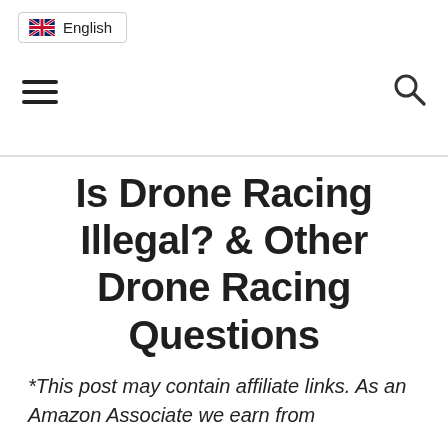English
Is Drone Racing Illegal? & Other Drone Racing Questions
*This post may contain affiliate links. As an Amazon Associate we earn from